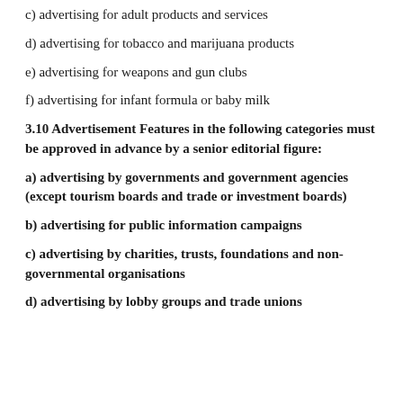c) advertising for adult products and services
d) advertising for tobacco and marijuana products
e) advertising for weapons and gun clubs
f) advertising for infant formula or baby milk
3.10 Advertisement Features in the following categories must be approved in advance by a senior editorial figure:
a) advertising by governments and government agencies (except tourism boards and trade or investment boards)
b) advertising for public information campaigns
c) advertising by charities, trusts, foundations and non-governmental organisations
d) advertising by lobby groups and trade unions